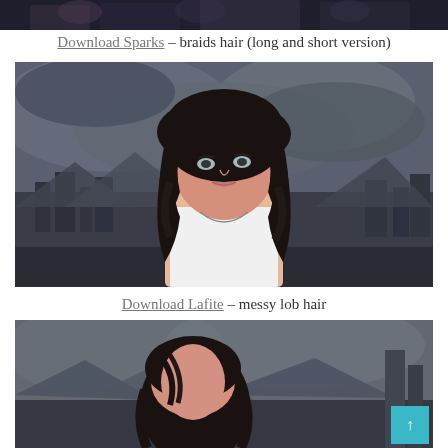[Figure (photo): Partial top strip of a 3D rendered scene showing characters in a dark/sci-fi setting]
Download Sparks – braids hair (long and short version)
[Figure (photo): 3D rendered portrait of a dark-haired woman with a messy lob hairstyle, wearing a white tank top, with a moody city/mountain background]
Download Lafite – messy lob hair
[Figure (photo): 3D rendered portrait of a dark-haired woman partially visible, with mountain/foggy background, and a teal scroll-to-top button in the lower right corner]